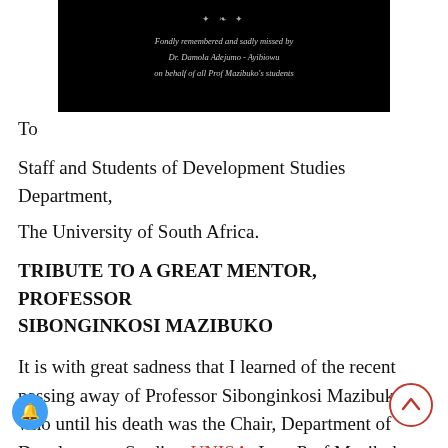[Figure (illustration): Black banner with decorative ornament and italic text: 'Fondly remembered and sadly missed by Dr. Damola Adejumo - Ayibiowu on behalf of all Prof Mazibuko's students']
To
Staff and Students of Development Studies Department,
The University of South Africa.
TRIBUTE TO A GREAT MENTOR, PROFESSOR SIBONGINKOSI MAZIBUKO
It is with great sadness that I learned of the recent passing away of Professor Sibonginkosi Mazibuko, who until his death was the Chair, Department of Development Studies, UNISA. Late Prof Mazibuko was my supervisor when I